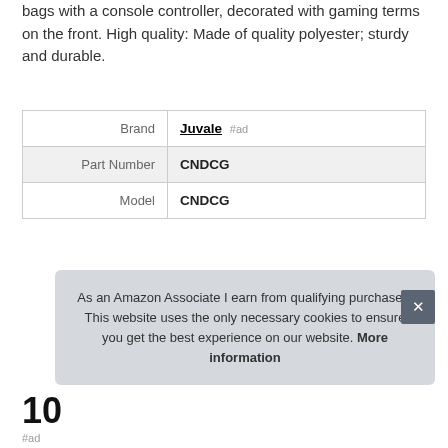bags with a console controller, decorated with gaming terms on the front. High quality: Made of quality polyester; sturdy and durable.
|  |  |
| --- | --- |
| Brand | Juvale #ad |
| Part Number | CNDCG |
| Model | CNDCG |
More information #ad
10
#ad
As an Amazon Associate I earn from qualifying purchases. This website uses the only necessary cookies to ensure you get the best experience on our website. More information